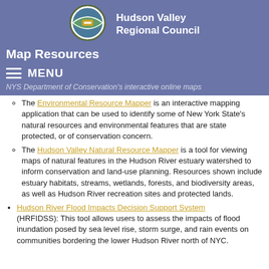[Figure (logo): Hudson Valley Regional Council circular logo with green and blue design]
Hudson Valley Regional Council
Map Resources
MENU
NYS Department of Conservation's interactive online maps
The Environmental Resource Mapper is an interactive mapping application that can be used to identify some of New York State's natural resources and environmental features that are state protected, or of conservation concern.
The Hudson Valley Natural Resource Mapper is a tool for viewing maps of natural features in the Hudson River estuary watershed to inform conservation and land-use planning. Resources shown include estuary habitats, streams, wetlands, forests, and biodiversity areas, as well as Hudson River recreation sites and protected lands.
Hudson River Flood Impacts Decision Support System (HRFIDSS): This tool allows users to assess the impacts of flood inundation posed by sea level rise, storm surge, and rain events on communities bordering the lower Hudson River north of NYC.